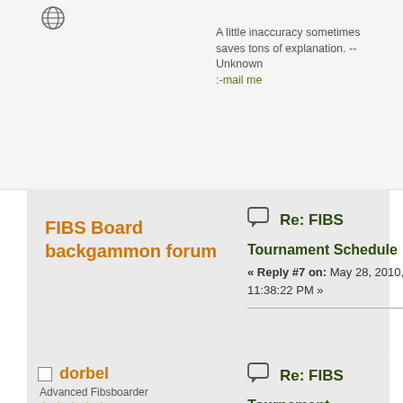[Figure (illustration): Globe/world icon]
A little inaccuracy sometimes saves tons of explanation. -- Unknown
:-mail me
FIBS Board backgammon forum
[Figure (illustration): Chat bubble icon]
Re: FIBS
Tournament Schedule
« Reply #7 on: May 28, 2010, 11:38:22 PM »
dorbel
Advanced Fibsboarder
[Figure (illustration): Chat bubble icon]
Re: FIBS
Tournament Schedule